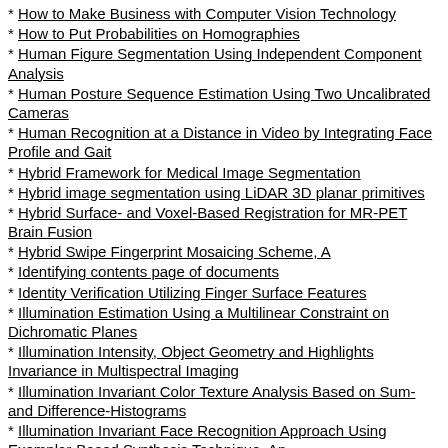How to Make Business with Computer Vision Technology
How to Put Probabilities on Homographies
Human Figure Segmentation Using Independent Component Analysis
Human Posture Sequence Estimation Using Two Uncalibrated Cameras
Human Recognition at a Distance in Video by Integrating Face Profile and Gait
Hybrid Framework for Medical Image Segmentation
Hybrid image segmentation using LiDAR 3D planar primitives
Hybrid Surface- and Voxel-Based Registration for MR-PET Brain Fusion
Hybrid Swipe Fingerprint Mosaicing Scheme, A
Identifying contents page of documents
Identity Verification Utilizing Finger Surface Features
Illumination Estimation Using a Multilinear Constraint on Dichromatic Planes
Illumination Intensity, Object Geometry and Highlights Invariance in Multispectral Imaging
Illumination Invariant Color Texture Analysis Based on Sum- and Difference-Histograms
Illumination Invariant Face Recognition Approach Using Exemplar-Based Synthesis Technique, An
Illumination Invariant Face Recognition Using Linear